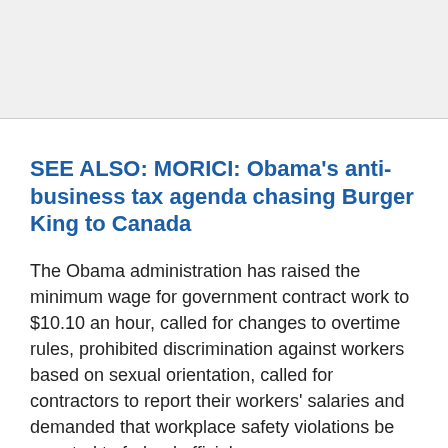[Figure (other): Gray placeholder box at top of page]
SEE ALSO: MORICI: Obama’s anti-business tax agenda chasing Burger King to Canada
The Obama administration has raised the minimum wage for government contract work to $10.10 an hour, called for changes to overtime rules, prohibited discrimination against workers based on sexual orientation, called for contractors to report their workers’ salaries and demanded that workplace safety violations be reported to federal officials.